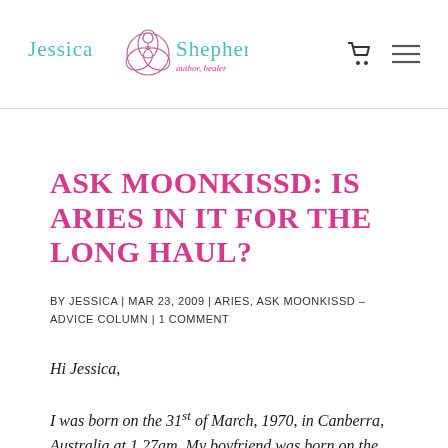Jessica Shepherd — author, healer
ASK MOONKISSD: IS ARIES IN IT FOR THE LONG HAUL?
BY JESSICA | MAR 23, 2009 | ARIES, ASK MOONKISSD – ADVICE COLUMN | 1 COMMENT
Hi Jessica,
I was born on the 31st of March, 1970, in Canberra, Australia at 1.27am. My boyfriend was born on the